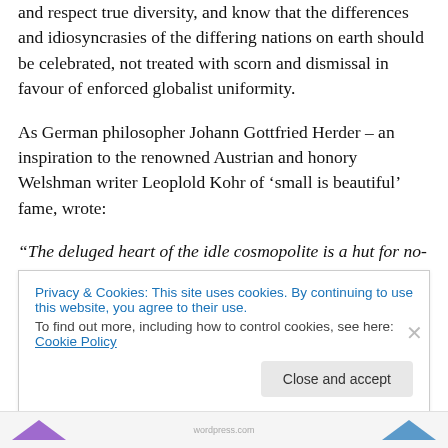and respect true diversity, and know that the differences and idiosyncrasies of the differing nations on earth should be celebrated, not treated with scorn and dismissal in favour of enforced globalist uniformity.
As German philosopher Johann Gottfried Herder – an inspiration to the renowned Austrian and honory Welshman writer Leoplold Kohr of ‘small is beautiful’ fame, wrote:
“The deluged heart of the idle cosmopolite is a hut for no-one.”
Privacy & Cookies: This site uses cookies. By continuing to use this website, you agree to their use.
To find out more, including how to control cookies, see here: Cookie Policy
Close and accept